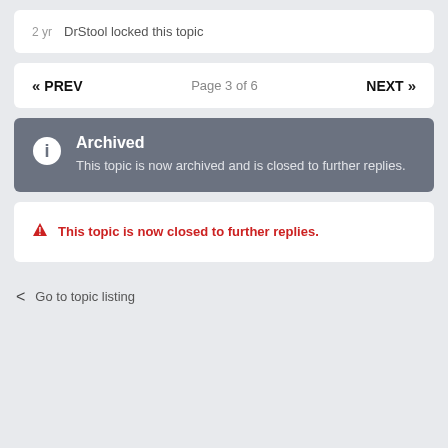2 yr  DrStool locked this topic
« PREV  Page 3 of 6  NEXT »
Archived
This topic is now archived and is closed to further replies.
▲ This topic is now closed to further replies.
< Go to topic listing